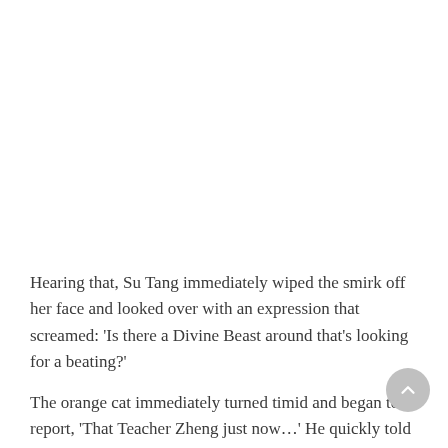Hearing that, Su Tang immediately wiped the smirk off her face and looked over with an expression that screamed: ‘Is there a Divine Beast around that’s looking for a beating?’
The orange cat immediately turned timid and began to report, ‘That Teacher Zheng just now…’ He quickly told Su Tang all about the conversation between Zheng Li and